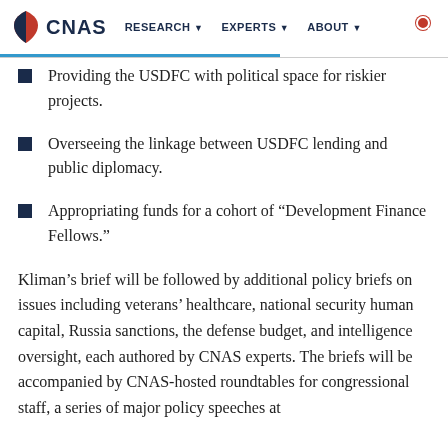CNAS | RESEARCH | EXPERTS | ABOUT
Providing the USDFC with political space for riskier projects.
Overseeing the linkage between USDFC lending and public diplomacy.
Appropriating funds for a cohort of “Development Finance Fellows.”
Kliman’s brief will be followed by additional policy briefs on issues including veterans’ healthcare, national security human capital, Russia sanctions, the defense budget, and intelligence oversight, each authored by CNAS experts. The briefs will be accompanied by CNAS-hosted roundtables for congressional staff, a series of major policy speeches at